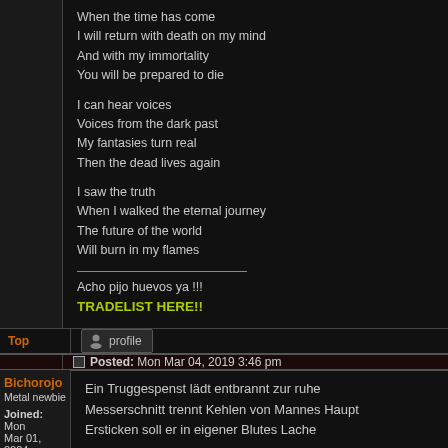When the time has come
I will return with death on my mind
And with my immortality
You will be prepared to die

I can hear voices
Voices from the dark past
My fantasies turn real
Then the dead lives again

I saw the truth
When I walked the eternal journey
The future of the world
Will burn in my flames

________________

Acho pijo huevos ya !!!
TRADELIST HERE!!
Top
profile
Bichorojo
Metal newbie
Joined: Mon Mar 01, 2004 12:52 pm
Posts: 281
Posted: Mon Mar 04, 2019 3:46 pm
Ein Truggespenst lädt entbrannt zur ruhe
Messerschnitt trennt Kehlen von Mannes Haupt
Ersticken soll er in eigener Blutes Lache